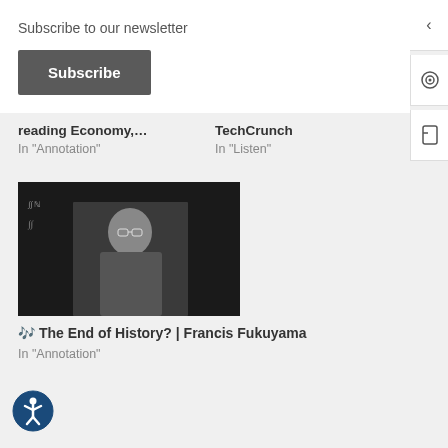Subscribe to our newsletter
Subscribe
reading Economy,...
In "Annotation"
TechCrunch
In "Listen"
[Figure (photo): Black and white photo of a man in a suit standing in front of a chalkboard covered with mathematical equations]
🎵 The End of History? | Francis Fukuyama
In "Annotation"